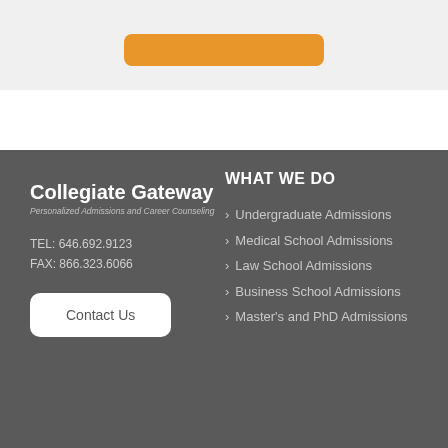[Figure (other): Orange rounded rectangle button at top of page on light grey background]
Collegiate Gateway
Personalized Admissions and Career Counseling
TEL: 646.692.9123
FAX: 866.323.6066
Contact Us
WHAT WE DO
Undergraduate Admissions
Medical School Admissions
Law School Admissions
Business School Admissions
Master's and PhD Admissions